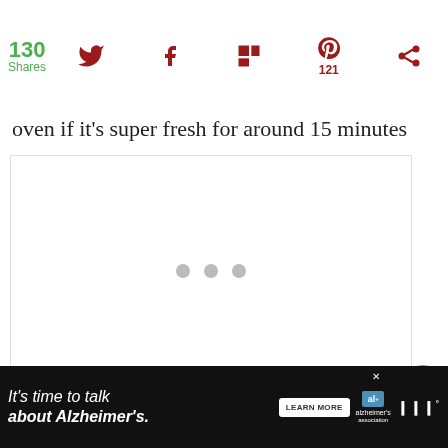130 Shares [social icons: Twitter, Facebook, Flipboard, Pinterest 121, Share]
oven if it's super fresh for around 15 minutes
[Figure (photo): Image loading placeholder with three gray dots in the center of a white rectangle]
WHAT'S NEXT → Carrot Cake Tastes Like ...
[Figure (infographic): Advertisement banner: It's time to talk about Alzheimer's. LEARN MORE. Alzheimer's Association logo. Weatherbug logo.]